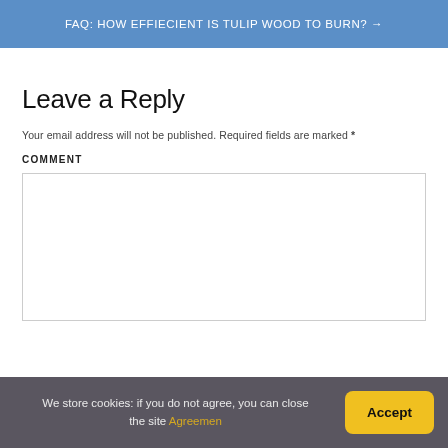FAQ: HOW EFFIECIENT IS TULIP WOOD TO BURN? →
Leave a Reply
Your email address will not be published. Required fields are marked *
COMMENT
We store cookies: if you do not agree, you can close the site Agreemen
Accept